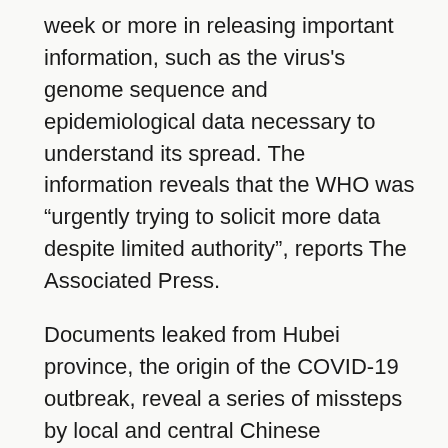week or more in releasing important information, such as the virus's genome sequence and epidemiological data necessary to understand its spread. The information reveals that the WHO was “urgently trying to solicit more data despite limited authority”, reports The Associated Press.
Documents leaked from Hubei province, the origin of the COVID-19 outbreak, reveal a series of missteps by local and central Chinese government agencies, reports CNN. The agency in charge of disease response, the China Center for Disease Control and Prevention, was underfunded and mired in bureaucracy. Numbers of cases and deaths were lowballed when presented to the public. Tests were inaccurate, diagnosis was slow and early cases might have been counted as flu.